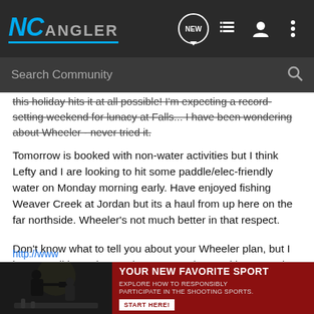NC ANGLER - Search Community nav bar
this holiday hits it at all possible! I'm expecting a record-setting weekend for lunacy at Falls... I have been wondering about Wheeler - never tried it.
Tomorrow is booked with non-water activities but I think Lefty and I are looking to hit some paddle/elec-friendly water on Monday morning early. Have enjoyed fishing Weaver Creek at Jordan but its a haul from up here on the far northside. Wheeler's not much better in that respect.
Don't know what to tell you about your Wheeler plan, but I hope you'll let us know where you end up and how you do.
[Figure (photo): Advertisement banner: YOUR NEW FAVORITE SPORT - EXPLORE HOW TO RESPONSIBLY PARTICIPATE IN THE SHOOTING SPORTS. START HERE! with dark background and silhouette of person shooting.]
http://www